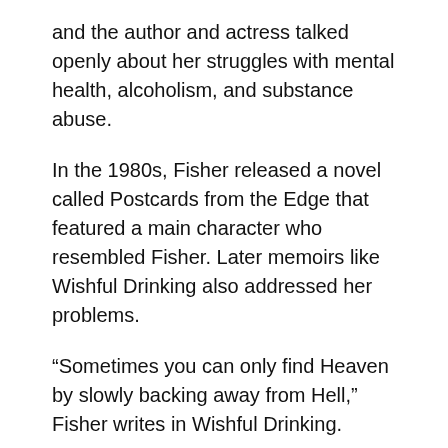and the author and actress talked openly about her struggles with mental health, alcoholism, and substance abuse.
In the 1980s, Fisher released a novel called Postcards from the Edge that featured a main character who resembled Fisher. Later memoirs like Wishful Drinking also addressed her problems.
“Sometimes you can only find Heaven by slowly backing away from Hell,” Fisher writes in Wishful Drinking.
Fisher died in December 2016 at age 60 after going into cardiac arrest on a flight. A toxicology report showed she had alcohol, cocaine, opiates, and other substances in her